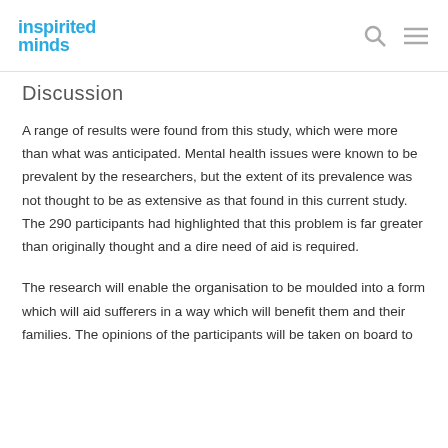inspirited minds
Discussion
A range of results were found from this study, which were more than what was anticipated. Mental health issues were known to be prevalent by the researchers, but the extent of its prevalence was not thought to be as extensive as that found in this current study. The 290 participants had highlighted that this problem is far greater than originally thought and a dire need of aid is required.
The research will enable the organisation to be moulded into a form which will aid sufferers in a way which will benefit them and their families. The opinions of the participants will be taken on board to